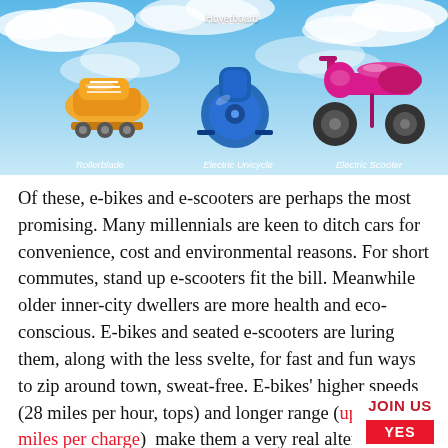[Figure (illustration): Colorful illustration of personal electric transport vehicles (Rollerblades, Electric Unicycle, Electric Scooter, Hoverboard, Skateboard) on a sky/clouds background]
Of these, e-bikes and e-scooters are perhaps the most promising. Many millennials are keen to ditch cars for convenience, cost and environmental reasons. For short commutes, stand up e-scooters fit the bill. Meanwhile older inner-city dwellers are more health and eco-conscious. E-bikes and seated e-scooters are luring them, along with the less svelte, for fast and fun ways to zip around town, sweat-free. E-bikes' higher speeds (28 miles per hour, tops) and longer range (up to 120 miles per charge)  make them a very real alternative to cars for short runs like errands or school drop-offs.